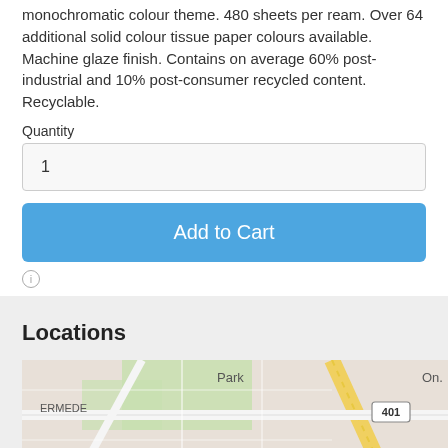monochromatic colour theme. 480 sheets per ream. Over 64 additional solid colour tissue paper colours available. Machine glaze finish. Contains on average 60% post-industrial and 10% post-consumer recycled content. Recyclable.
Quantity
1
Add to Cart
[Figure (map): Street map showing area near highway 401, with labels ERMEDE, Park, and route 401 visible.]
Locations